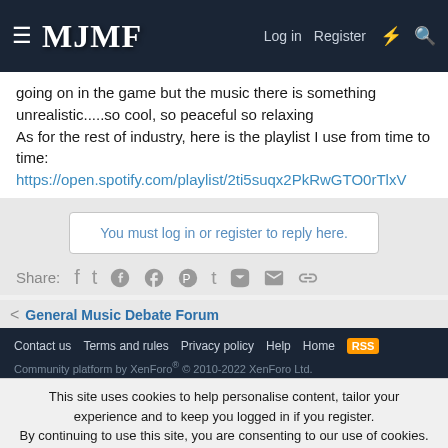MJMF — Log in | Register
going on in the game but the music there is something unrealistic.....so cool, so peaceful so relaxing
As for the rest of industry, here is the playlist I use from time to time: https://open.spotify.com/playlist/2ti5suqx2PkRwGTO0rTlxV
You must log in or register to reply here.
Share:
General Music Debate Forum
Contact us  Terms and rules  Privacy policy  Help  Home
Community platform by XenForo® © 2010-2022 XenForo Ltd.
This site uses cookies to help personalise content, tailor your experience and to keep you logged in if you register.
By continuing to use this site, you are consenting to our use of cookies.